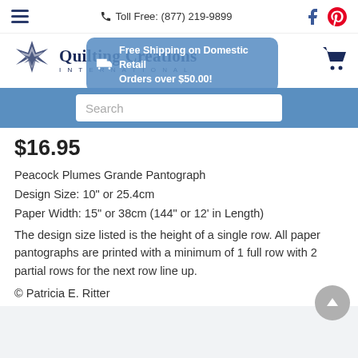Toll Free: (877) 219-9899
[Figure (logo): Quilting Creations International logo with quilt-star icon]
[Figure (infographic): Blue shipping banner: Free Shipping on Domestic Retail Orders over $50.00!]
$16.95
Peacock Plumes Grande Pantograph
Design Size: 10" or 25.4cm
Paper Width: 15" or 38cm (144" or 12' in Length)
The design size listed is the height of a single row. All paper pantographs are printed with a minimum of 1 full row with 2 partial rows for the next row line up.
© Patricia E. Ritter